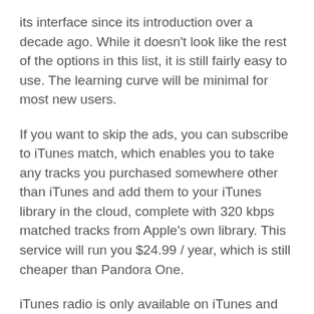its interface since its introduction over a decade ago. While it doesn't look like the rest of the options in this list, it is still fairly easy to use. The learning curve will be minimal for most new users.
If you want to skip the ads, you can subscribe to iTunes match, which enables you to take any tracks you purchased somewhere other than iTunes and add them to your iTunes library in the cloud, complete with 320 kbps matched tracks from Apple's own library. This service will run you $24.99 / year, which is still cheaper than Pandora One.
iTunes radio is only available on iTunes and iOS 7+. As a music streaming service, iTunes' offering is best compared to Pandora than to any of the other on-demand capable services out there. By comparison, it works very well. Unfortunately, its limited support for